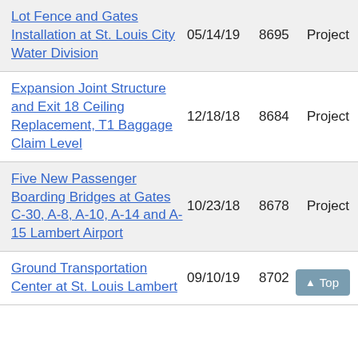| Project Title | Date | Number | Type |
| --- | --- | --- | --- |
| Lot Fence and Gates Installation at St. Louis City Water Division | 05/14/19 | 8695 | Project |
| Expansion Joint Structure and Exit 18 Ceiling Replacement, T1 Baggage Claim Level | 12/18/18 | 8684 | Project |
| Five New Passenger Boarding Bridges at Gates C-30, A-8, A-10, A-14 and A-15 Lambert Airport | 10/23/18 | 8678 | Project |
| Ground Transportation Center at St. Louis Lambert | 09/10/19 | 8702 | Project |